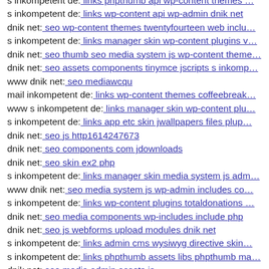s inkompetent de: links phpthumb api wp-content themes …
s inkompetent de: links wp-content api wp-admin dnik net
dnik net: seo wp-content themes twentyfourteen web inclu…
s inkompetent de: links manager skin wp-content plugins v…
dnik net: seo thumb seo media system js wp-content theme…
dnik net: seo assets components tinymce jscripts s inkomp…
www dnik net: seo mediawcqu
mail inkompetent de: links wp-content themes coffeebreak…
www s inkompetent de: links manager skin wp-content plu…
s inkompetent de: links app etc skin jwallpapers files plup…
dnik net: seo js http1614247673
dnik net: seo components com jdownloads
dnik net: seo skin ex2 php
s inkompetent de: links manager skin media system js adm…
www dnik net: seo media system js wp-admin includes co…
s inkompetent de: links wp-content plugins totaldonations …
dnik net: seo media components wp-includes include php
dnik net: seo js webforms upload modules dnik net
s inkompetent de: links admin cms wysiwyg directive skin…
s inkompetent de: links phpthumb assets libs phpthumb ma…
dnik net: seo media admin assets js